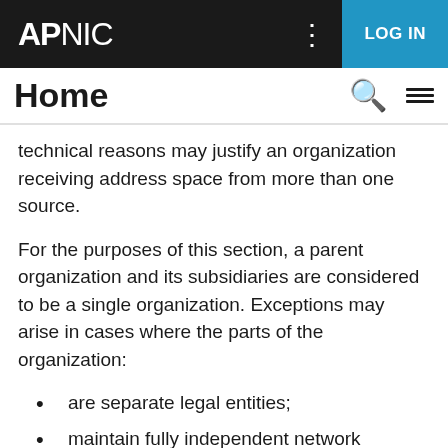APNIC  LOG IN
Home
technical reasons may justify an organization receiving address space from more than one source.
For the purposes of this section, a parent organization and its subsidiaries are considered to be a single organization. Exceptions may arise in cases where the parts of the organization:
are separate legal entities;
maintain fully independent network infrastructures and are routed under different Autonomous System numbers; or
or can otherwise demonstrate a justified